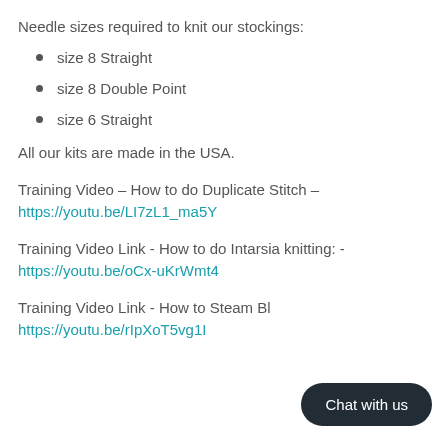Needle sizes required to knit our stockings:
size 8 Straight
size 8 Double Point
size 6 Straight
All our kits are made in the USA.
Training Video – How to do Duplicate Stitch –
https://youtu.be/LI7zL1_ma5Y
Training Video Link - How to do Intarsia knitting: -
https://youtu.be/oCx-uKrWmt4
Training Video Link - How to Steam Bl…
https://youtu.be/rIpXoT5vg1I